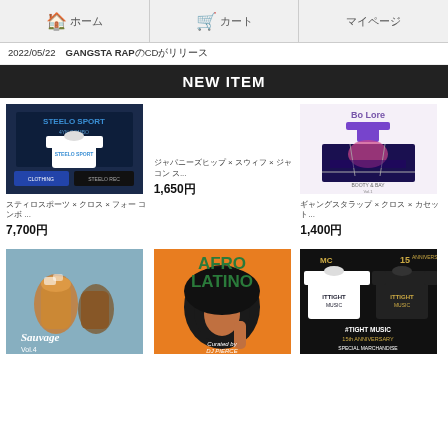🏠 ホーム  🛒 カート  マイページ
2022/05/22  GANGSTA RAPのCDがリリース
NEW ITEM
[Figure (photo): Steelo Sport clothing item product photo]
スティロスポーツ × クロス × フォー コンボ ...</br>7,700円
[Figure (photo): Hip hop album art with bridge and purple theme]
ギャングスタラップ × クロス × カセット...
1,400円
ジャパニーズ ヒップホップ × スウィフト × ...</br>1,650円
[Figure (photo): Sauvage Vol.4 drinks lifestyle photo]
[Figure (photo): Afro Latino album cover with illustrated woman]
[Figure (photo): ITTIGHT MUSIC 15th Anniversary merchandise t-shirts]